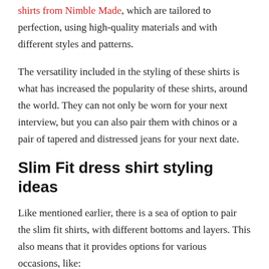shirts from Nimble Made, which are tailored to perfection, using high-quality materials and with different styles and patterns.
The versatility included in the styling of these shirts is what has increased the popularity of these shirts, around the world. They can not only be worn for your next interview, but you can also pair them with chinos or a pair of tapered and distressed jeans for your next date.
Slim Fit dress shirt styling ideas
Like mentioned earlier, there is a sea of option to pair the slim fit shirts, with different bottoms and layers. This also means that it provides options for various occasions, like: